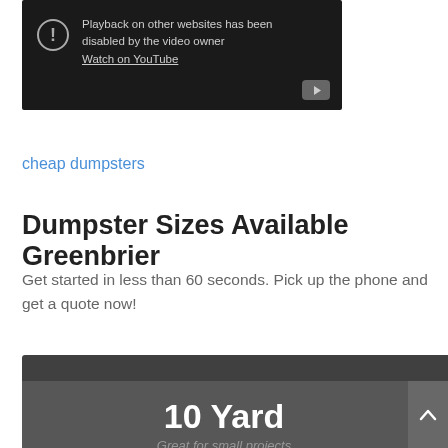[Figure (screenshot): YouTube video embed showing playback disabled message with exclamation icon and 'Watch on YouTube' link on dark background]
cheap dumpsters
Dumpster Sizes Available Greenbrier
Get started in less than 60 seconds. Pick up the phone and get a quote now!
[Figure (infographic): Dark card element showing '10 Yard' in large white bold text with subtitle 'Great for small projects' in gray italic, with chevron/up-arrow button on right side]